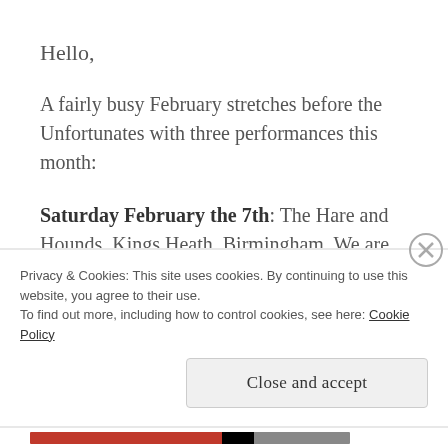Hello,
A fairly busy February stretches before the Unfortunates with three performances this month:
Saturday February the 7th: The Hare and Hounds, Kings Heath, Birmingham. We are opening for the Major Toms my chum Owen Comaskeys group which features ex and current members of Broadcast, PWEI and UB40. We'll be on at 9PM.
Privacy & Cookies: This site uses cookies. By continuing to use this website, you agree to their use.
To find out more, including how to control cookies, see here: Cookie Policy
Close and accept